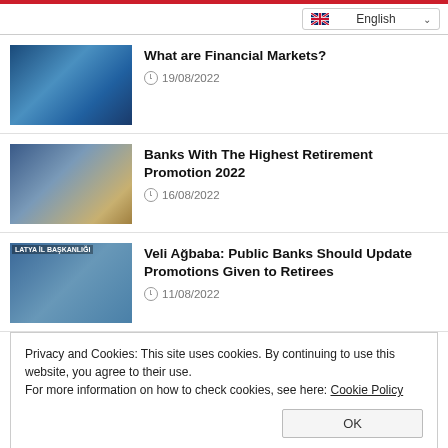English language selector
What are Financial Markets? 19/08/2022
Banks With The Highest Retirement Promotion 2022 16/08/2022
Veli Ağbaba: Public Banks Should Update Promotions Given to Retirees 11/08/2022
Privacy and Cookies: This site uses cookies. By continuing to use this website, you agree to their use. For more information on how to check cookies, see here: Cookie Policy
Erkunt Tractor Grows with R&D and Technology